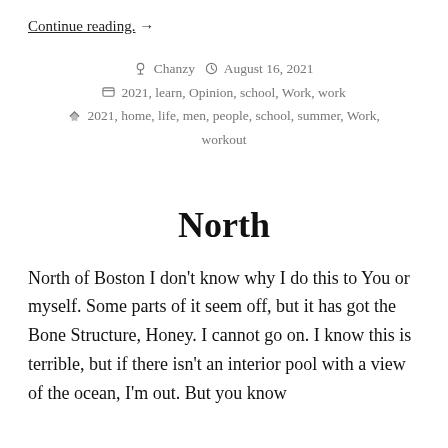Continue reading. →
Chanzy  August 16, 2021
2021, learn, Opinion, school, Work, work
2021, home, life, men, people, school, summer, Work, workout
North
North of Boston I don't know why I do this to You or myself. Some parts of it seem off, but it has got the Bone Structure, Honey. I cannot go on. I know this is terrible, but if there isn't an interior pool with a view of the ocean, I'm out. But you know